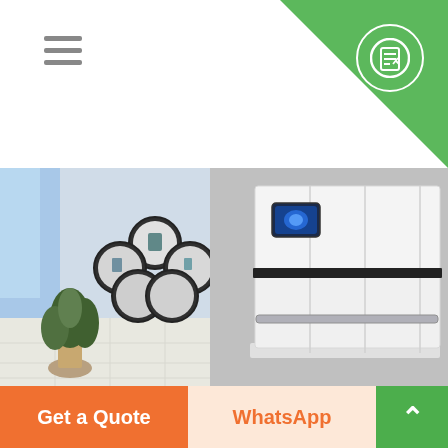Navigation menu and quote button header
[Figure (photo): Vacuum hot water boiler product photo in a modern interior setting with circular shelving unit and plant. Large white cabinet-style boiler unit with blue display panel and black horizontal stripe.]
Vacuum Hot Water Boiler (T6)
Get a Quote
WhatsApp